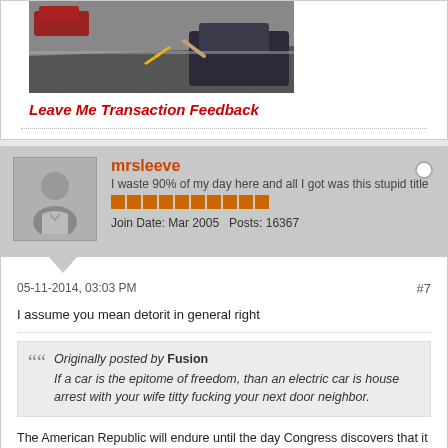[Figure (photo): Car on a road with yellow center line, person's arm visible out window]
Leave Me Transaction Feedback
mrsleeve
I waste 90% of my day here and all I got was this stupid title
Join Date: Mar 2005   Posts: 16367
05-11-2014, 03:03 PM
#7
I assume you mean detorit in general right
Originally posted by Fusion
If a car is the epitome of freedom, than an electric car is house arrest with your wife titty fucking your next door neighbor.
The American Republic will endure until the day Congress discovers that it can bribe the public with the public's money. -Alexis de Tocqueville